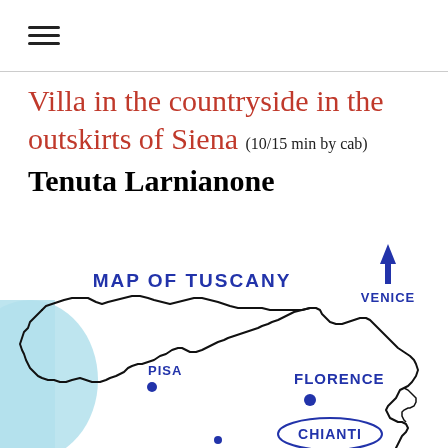≡
Villa in the countryside in the outskirts of Siena (10/15 min by cab) Tenuta Larnianone
[Figure (map): Hand-drawn style map of Tuscany showing cities Pisa, Florence, Chianti labeled with blue text and dots. A north arrow pointing up with label VENICE is in the upper right. The coastline and sea are shown in light blue on the left. The map outline shows the Tuscany region border. Title reads MAP OF TUSCANY in blue capitals.]